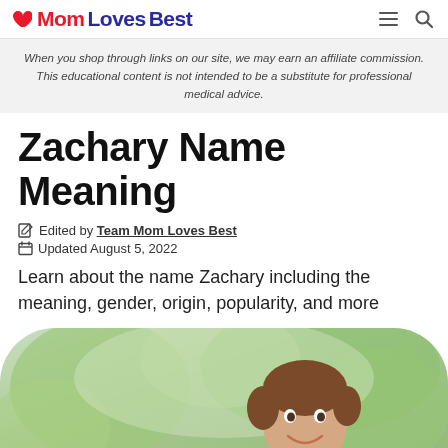MomLovesBest
When you shop through links on our site, we may earn an affiliate commission. This educational content is not intended to be a substitute for professional medical advice.
Zachary Name Meaning
Edited by Team Mom Loves Best
Updated August 5, 2022
Learn about the name Zachary including the meaning, gender, origin, popularity, and more
[Figure (photo): A smiling young boy with brown hair wearing a light blue polo shirt, photographed outdoors with green foliage in the background. The photo is cropped in a rounded rectangle shape.]